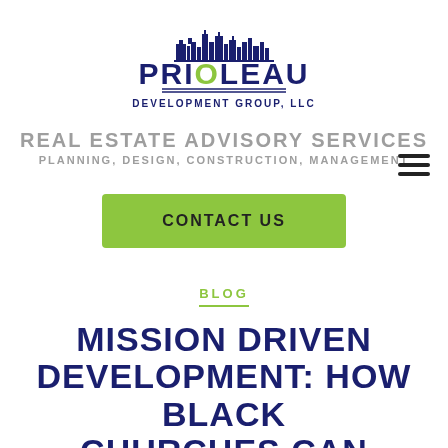[Figure (logo): Prioleau Development Group, LLC logo with city skyline graphic above stylized text]
REAL ESTATE ADVISORY SERVICES
PLANNING, DESIGN, CONSTRUCTION, MANAGEMENT
CONTACT US
BLOG
MISSION DRIVEN DEVELOPMENT: HOW BLACK CHURCHES CAN IMPACT